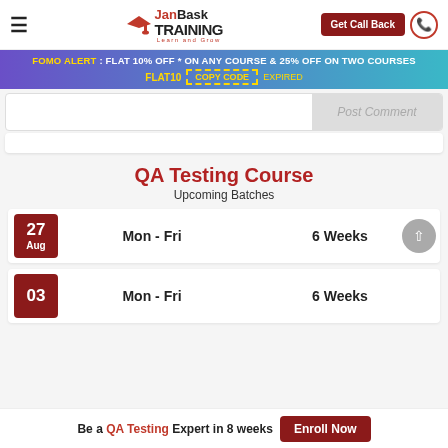JanBask Training — Get Call Back
FOMO ALERT : FLAT 10% OFF * ON ANY COURSE & 25% OFF ON TWO COURSES — FLAT10 COPY CODE EXPIRED
QA Testing Course
Upcoming Batches
27 Aug   Mon - Fri   6 Weeks
03   Mon - Fri   6 Weeks
Be a QA Testing Expert in 8 weeks   Enroll Now